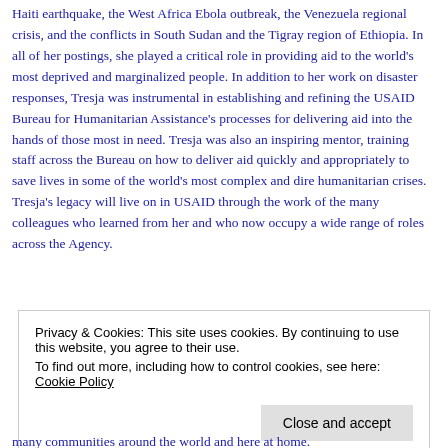Haiti earthquake, the West Africa Ebola outbreak, the Venezuela regional crisis, and the conflicts in South Sudan and the Tigray region of Ethiopia. In all of her postings, she played a critical role in providing aid to the world's most deprived and marginalized people. In addition to her work on disaster responses, Tresja was instrumental in establishing and refining the USAID Bureau for Humanitarian Assistance's processes for delivering aid into the hands of those most in need. Tresja was also an inspiring mentor, training staff across the Bureau on how to deliver aid quickly and appropriately to save lives in some of the world's most complex and dire humanitarian crises. Tresja's legacy will live on in USAID through the work of the many colleagues who learned from her and who now occupy a wide range of roles across the Agency.
Privacy & Cookies: This site uses cookies. By continuing to use this website, you agree to their use.
To find out more, including how to control cookies, see here: Cookie Policy
many communities around the world and here at home.